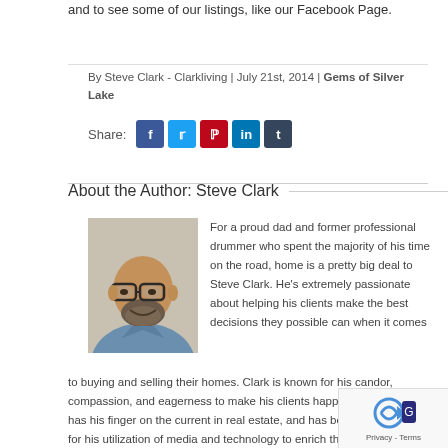and to see some of our listings, like our Facebook Page.
By Steve Clark - Clarkliving | July 21st, 2014 | Gems of Silver Lake
Share:
About the Author: Steve Clark
[Figure (photo): Headshot of Steve Clark, a bald man with glasses and a beard, wearing a blue shirt, smiling.]
For a proud dad and former professional drummer who spent the majority of his time on the road, home is a pretty big deal to Steve Clark. He's extremely passionate about helping his clients make the best decisions they possible can when it comes to buying and selling their homes. Clark is known for his candor, compassion, and eagerness to make his clients happy. Clark always has his finger on the current in real estate, and has become well-known for his utilization of media and technology to enrich the experience.